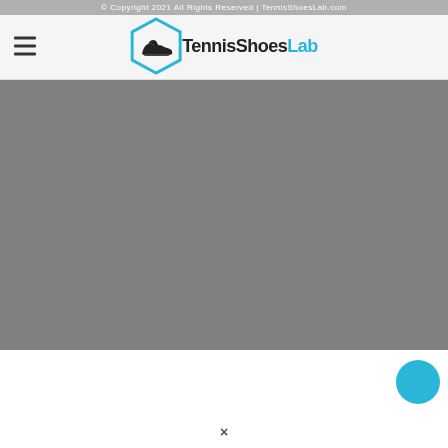© Copyright 2021 All Rights Reserved | TennisShoesLab.com
[Figure (logo): TennisShoesLab logo with hexagon outline containing a sneaker icon, followed by the text TennisShoesLab where Lab is in blue]
[Figure (photo): Large gray placeholder image area occupying most of the page]
[Figure (other): Blue circular chat bubble widget in the lower right area]
×